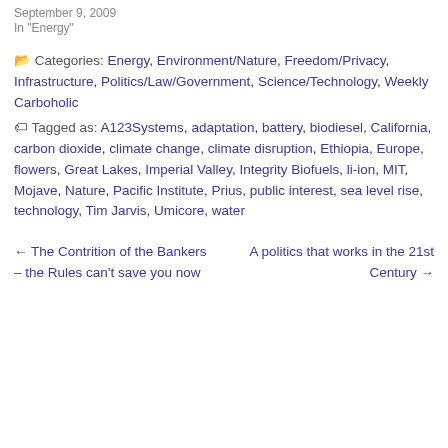September 9, 2009
In "Energy"
Categories: Energy, Environment/Nature, Freedom/Privacy, Infrastructure, Politics/Law/Government, Science/Technology, Weekly Carboholic
Tagged as: A123Systems, adaptation, battery, biodiesel, California, carbon dioxide, climate change, climate disruption, Ethiopia, Europe, flowers, Great Lakes, Imperial Valley, Integrity Biofuels, li-ion, MIT, Mojave, Nature, Pacific Institute, Prius, public interest, sea level rise, technology, Tim Jarvis, Umicore, water
← The Contrition of the Bankers – the Rules can't save you now
A politics that works in the 21st Century →